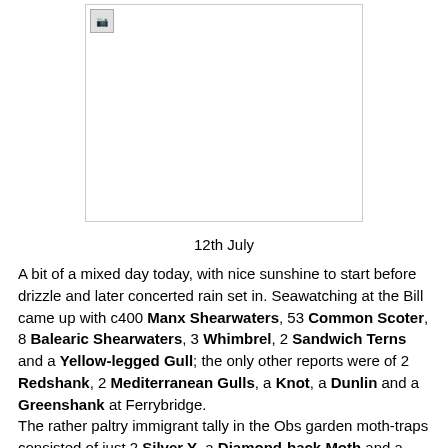[Figure (photo): Placeholder image with broken image icon, shown as a rectangle with border]
12th July
A bit of a mixed day today, with nice sunshine to start before drizzle and later concerted rain set in. Seawatching at the Bill came up with c400 Manx Shearwaters, 53 Common Scoter, 8 Balearic Shearwaters, 3 Whimbrel, 2 Sandwich Terns and a Yellow-legged Gull; the only other reports were of 2 Redshank, 2 Mediterranean Gulls, a Knot, a Dunlin and a Greenshank at Ferrybridge.
The rather paltry immigrant tally in the Obs garden moth-traps consisted of just 2 Silver Y, a Diamond-back Moth and a Rush Veneer.